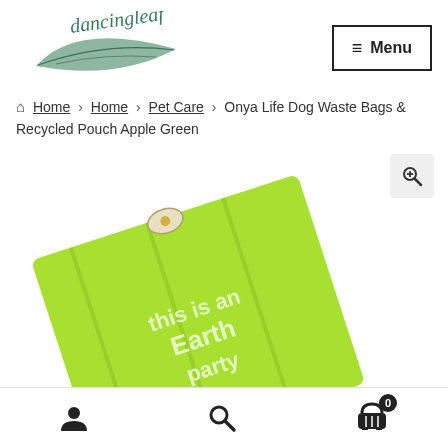[Figure (logo): Dancing Leaf logo — a green leaf illustration with cursive 'dancingleaf' text above it]
≡ Menu
Home > Home > Pet Care > Onya Life Dog Waste Bags & Recycled Pouch Apple Green
[Figure (photo): Bright apple green dog waste bag pouch with text 'this is an Earth party' printed on it, tilted at an angle]
[Figure (other): Bottom navigation bar with user/account icon, search icon, and shopping cart icon with badge showing 0]